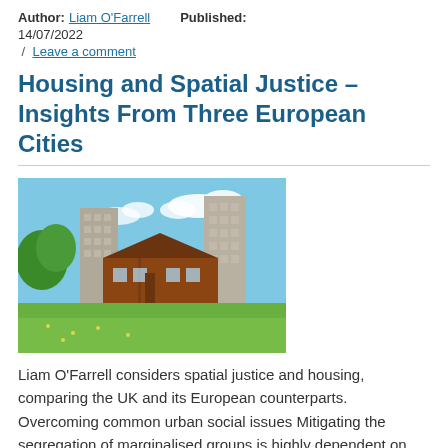Author: Liam O'Farrell   Published: 14/07/2022 / Leave a comment
Housing and Spatial Justice – Insights From Three European Cities
[Figure (photo): Photograph of a UK housing estate with low-rise terraced brick houses in the foreground and two tall residential tower blocks behind, set against a blue sky with green grass in the foreground.]
Liam O'Farrell considers spatial justice and housing, comparing the UK and its European counterparts. Overcoming common urban social issues Mitigating the segregation of marginalised groups is highly dependent on local context. Nevertheless, comparing